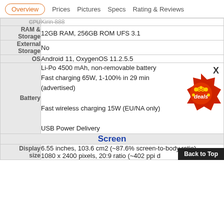Overview  Prices  Pictures  Specs  Rating & Reviews
| Spec | Value |
| --- | --- |
| CPU | Kirin 888 |
| RAM & Storage | 12GB RAM, 256GB ROM UFS 3.1 |
| External Storage | No |
| OS | Android 11, OxygenOS 11.2.5.5 |
| Battery | Li-Po 4500 mAh, non-removable battery
Fast charging 65W, 1-100% in 29 min (advertised)
Fast wireless charging 15W (EU/NA only)
USB Power Delivery |
| Screen |  |
| Display size | 6.55 inches, 103.6 cm2 (~87.6% screen-to-body ratio)
1080 x 2400 pixels, 20:9 ratio (~402 ppi d |